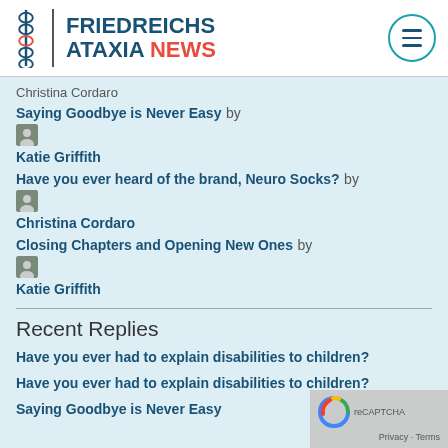FRIEDREICHS ATAXIA NEWS
Christina Cordaro
Saying Goodbye is Never Easy by Katie Griffith
Have you ever heard of the brand, Neuro Socks? by Christina Cordaro
Closing Chapters and Opening New Ones by Katie Griffith
Recent Replies
Have you ever had to explain disabilities to children?
Have you ever had to explain disabilities to children?
Saying Goodbye is Never Easy